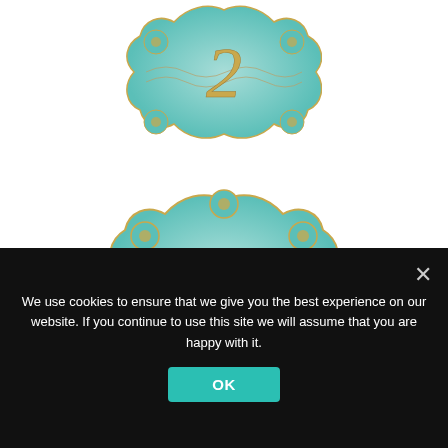[Figure (illustration): A teal/mint colored decorative badge or emblem with floral motifs and the number 2 in gold script, partially cropped at the top of the page]
[Figure (illustration): A teal/mint colored decorative badge or emblem with floral motifs and the number 2 in gold script, full view in the center of the page]
We use cookies to ensure that we give you the best experience on our website. If you continue to use this site we will assume that you are happy with it.
OK